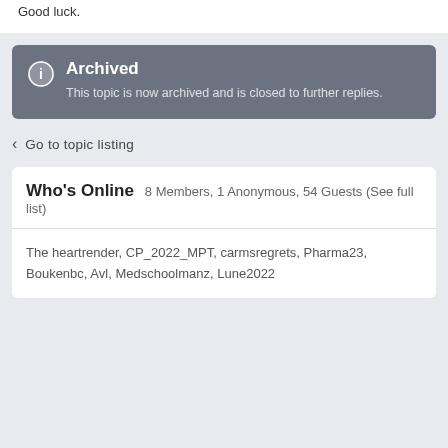Good luck.
Archived
This topic is now archived and is closed to further replies.
Go to topic listing
Who's Online  8 Members, 1 Anonymous, 54 Guests (See full list)
The heartrender, CP_2022_MPT, carmsregrets, Pharma23, Boukenbc, Avl, Medschoolmanz, Lune2022